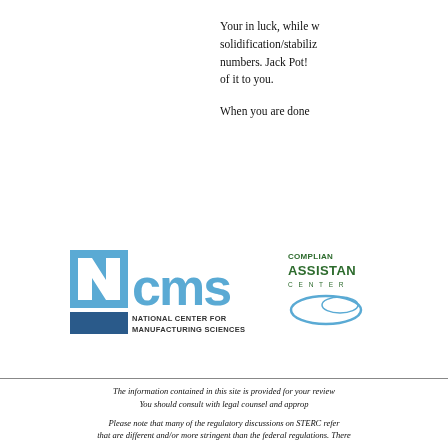Your in luck, while w solidification/stabiliz numbers. Jack Pot! of it to you.

When you are done
[Figure (logo): NCMS - National Center for Manufacturing Sciences logo in blue]
[Figure (logo): Compliance Assistance Center logo in green]
The information contained in this site is provided for your review and You should consult with legal counsel and approp Please note that many of the regulatory discussions on STERC refer that are different and/or more stringent than the federal regulations. There